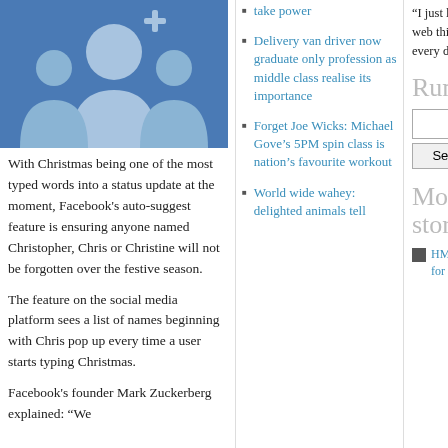[Figure (photo): Facebook logo/profile image on blue background with white silhouette figures]
With Christmas being one of the most typed words into a status update at the moment, Facebook's auto-suggest feature is ensuring anyone named Christopher, Chris or Christine will not be forgotten over the festive season.
The feature on the social media platform sees a list of names beginning with Chris pop up every time a user starts typing Christmas.
Facebook's founder Mark Zuckerberg explained: “We
take power
Delivery van driver now graduate only profession as middle class realise its importance
Forget Joe Wicks: Michael Gove’s 5PM spin class is nation’s favourite workout
World wide wahey: delighted animals tell
"I just love this paper.... site... web thingy. Makes my day, every day" - Phil Burfoot
Rumma
Most popular stories
HMS Prince of Wales: calls for